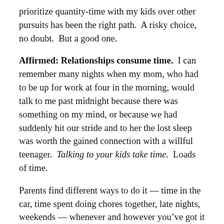prioritize quantity-time with my kids over other pursuits has been the right path.  A risky choice, no doubt.  But a good one.
Affirmed: Relationships consume time.  I can remember many nights when my mom, who had to be up for work at four in the morning, would talk to me past midnight because there was something on my mind, or because we had suddenly hit our stride and to her the lost sleep was worth the gained connection with a willful teenager.  Talking to your kids take time.  Loads of time.
Parents find different ways to do it — time in the car, time spent doing chores together, late nights, weekends — whenever and however you've got it to give.  But there is no getting around the reality that kids want to spend time with their parents, and that time cannot be assigned to other mental work.